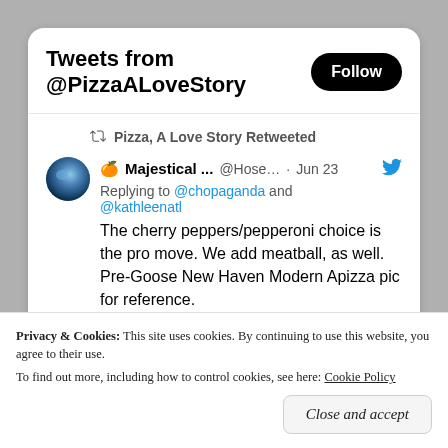Tweets from @PizzaALoveStory
🍊Majestical ...  @Hose… · Jun 23
Replying to @chopaganda and @kathleenatl
The cherry peppers/pepperoni choice is the pro move. We add meatball, as well. Pre-Goose New Haven Modern Apizza pic for reference.
[Figure (photo): Photo of a pizza with pepperoni and cherry peppers]
Privacy & Cookies: This site uses cookies. By continuing to use this website, you agree to their use.
To find out more, including how to control cookies, see here: Cookie Policy